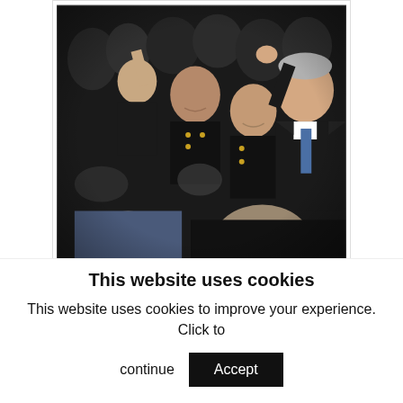[Figure (photo): U.S. President George W. Bush waves to a crowd of midshipmen in dark military uniforms. Bush is on the right wearing a dark suit and blue tie, waving with his right hand. Multiple uniformed military personnel are visible smiling in the crowd.]
U.S. President George W. Bush waves to midshipmen after speaking about the war in Iraq
This website uses cookies
This website uses cookies to improve your experience. Click to continue